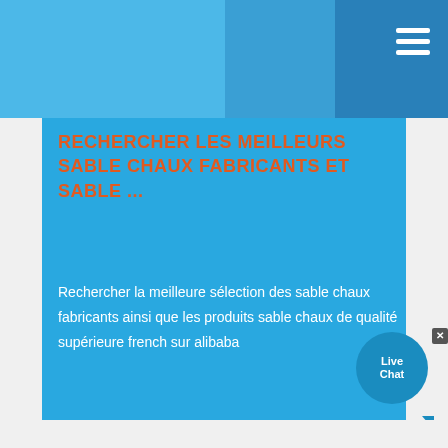RECHERCHER LES MEILLEURS SABLE CHAUX FABRICANTS ET SABLE ...
Rechercher la meilleure sélection des sable chaux fabricants ainsi que les produits sable chaux de qualité supérieure french sur alibaba
[Figure (other): Live Chat bubble icon in the bottom right of the content card]